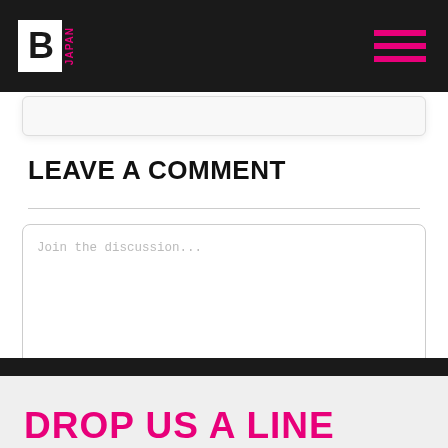BJ Japan
LEAVE A COMMENT
Join the discussion...
Please keep the comments BJ Friendly. We delete comments that don't contribute to the discussion.
DROP US A LINE